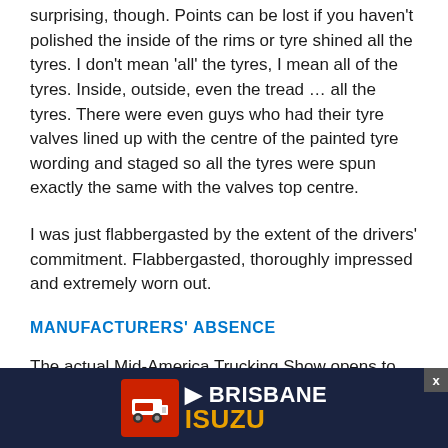surprising, though. Points can be lost if you haven't polished the inside of the rims or tyre shined all the tyres. I don't mean 'all' the tyres, I mean all of the tyres. Inside, outside, even the tread … all the tyres. There were even guys who had their tyre valves lined up with the centre of the painted tyre wording and staged so all the tyres were spun exactly the same with the valves top centre.
I was just flabbergasted by the extent of the drivers' commitment. Flabbergasted, thoroughly impressed and extremely worn out.
MANUFACTURERS' ABSENCE
The actual Mid-America Trucking Show opens to the public on Thursday lunchtime – that's when the numbers start rolling in. Because I'm good to you guys and like to provide all the information I can, I walked the entire internal ground… past every s…
[Figure (other): Brisbane Isuzu advertisement banner at the bottom of the page with red icon showing a truck and white/yellow text on dark navy background. An X close button is visible in the upper right corner of the ad.]